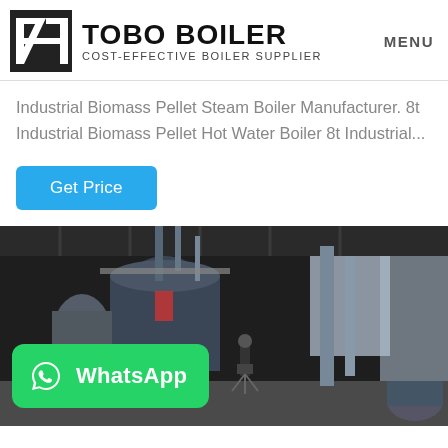TOBO BOILER — COST-EFFECTIVE BOILER SUPPLIER — MENU
Industrial Biomass Pellet Steam Boiler Manufacturer. 8t Industrial Biomass Pellet Hot Water Boiler 8t Industrial...
Get Price
[Figure (photo): Industrial boiler room with large cylindrical boilers, pipes, and a worker with a tripod camera on a factory floor. A WhatsApp badge overlay is shown in the bottom-left corner.]